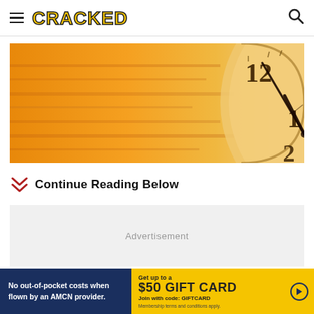CRACKED
[Figure (photo): Close-up photo of a clock face with motion blur, warm orange/amber tones, showing partial clock numerals 12, 1, and 2 with clock hands.]
Continue Reading Below
[Figure (other): Advertisement placeholder box with gray background]
[Figure (other): Bottom advertisement banner: 'No out-of-pocket costs when flown by an AMCN provider.' and 'Get up to a $50 GIFT CARD Join with code: GIFTCARD Membership terms and conditions apply.']